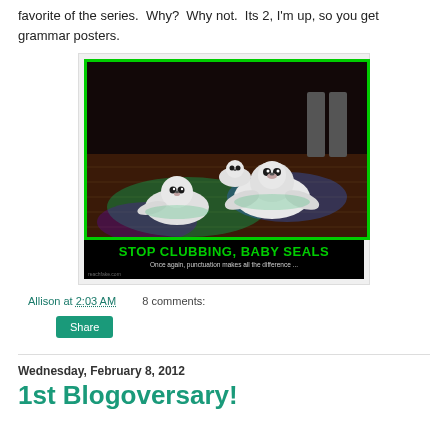favorite of the series.  Why?  Why not.  Its 2, I'm up, so you get grammar posters.
[Figure (photo): Demotivational poster with photo of baby seals on a disco dance floor with green/blue lighting. Green border around photo. Text reads 'STOP CLUBBING, BABY SEALS' in green letters, with subtitle 'Once again, punctuation makes all the difference ...']
Allison at 2:03 AM    8 comments:
Share
Wednesday, February 8, 2012
1st Blogoversary!